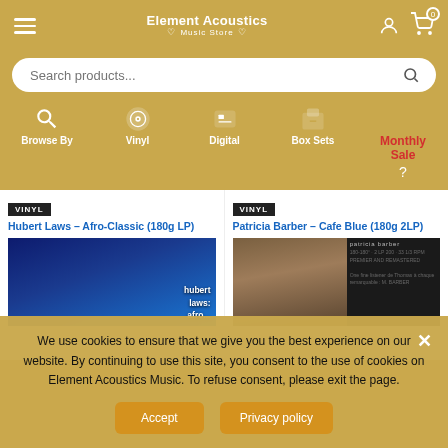Element Acoustics Music Store
Search products...
Browse By | Vinyl | Digital | Box Sets | Monthly Sale
[Figure (screenshot): Hubert Laws - Afro-Classic (180g LP) vinyl product card with dark blue album art]
[Figure (screenshot): Patricia Barber - Cafe Blue (180g 2LP) vinyl product card with portrait photo album art]
We use cookies to ensure that we give you the best experience on our website. By continuing to use this site, you consent to the use of cookies on Element Acoustics Music. To refuse consent, please exit the page.
Accept | Privacy policy